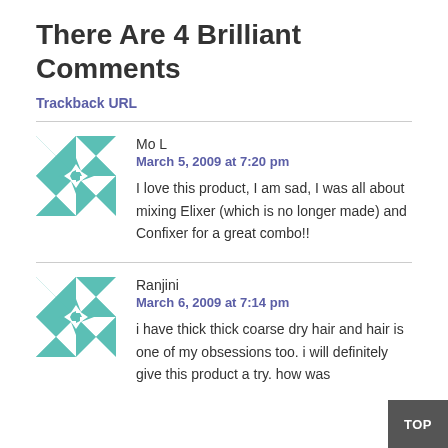There Are 4 Brilliant Comments
Trackback URL
Mo L
March 5, 2009 at 7:20 pm

I love this product, I am sad, I was all about mixing Elixer (which is no longer made) and Confixer for a great combo!!
Ranjini
March 6, 2009 at 7:14 pm

i have thick thick coarse dry hair and hair is one of my obsessions too. i will definitely give this product a try. how was